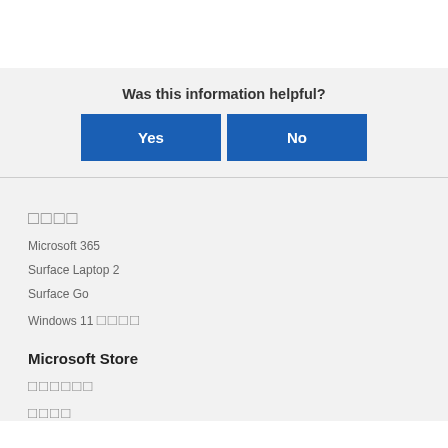Was this information helpful?
[Figure (screenshot): Two blue buttons labeled Yes and No for feedback]
□□□□
Microsoft 365
Surface Laptop 2
Surface Go
Windows 11 □□□□
Microsoft Store
□□□□□□
□□□□